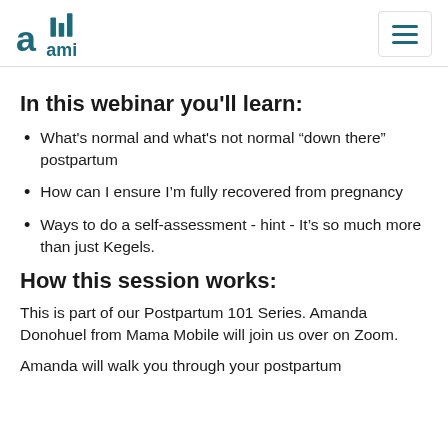allAmi logo and navigation menu
In this webinar you'll learn:
What's normal and what's not normal “down there” postpartum
How can I ensure I’m fully recovered from pregnancy
Ways to do a self-assessment - hint - It’s so much more than just Kegels.
How this session works:
This is part of our Postpartum 101 Series. Amanda Donohuel from Mama Mobile will join us over on Zoom.
Amanda will walk you through your postpartum